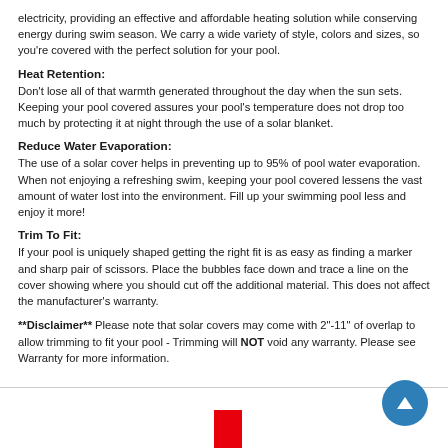electricity, providing an effective and affordable heating solution while conserving energy during swim season. We carry a wide variety of style, colors and sizes, so you're covered with the perfect solution for your pool.
Heat Retention:
Don't lose all of that warmth generated throughout the day when the sun sets. Keeping your pool covered assures your pool's temperature does not drop too much by protecting it at night through the use of a solar blanket.
Reduce Water Evaporation:
The use of a solar cover helps in preventing up to 95% of pool water evaporation. When not enjoying a refreshing swim, keeping your pool covered lessens the vast amount of water lost into the environment. Fill up your swimming pool less and enjoy it more!
Trim To Fit:
If your pool is uniquely shaped getting the right fit is as easy as finding a marker and sharp pair of scissors. Place the bubbles face down and trace a line on the cover showing where you should cut off the additional material. This does not affect the manufacturer's warranty.
**Disclaimer** Please note that solar covers may come with 2"-11" of overlap to allow trimming to fit your pool - Trimming will NOT void any warranty. Please see Warranty for more information.